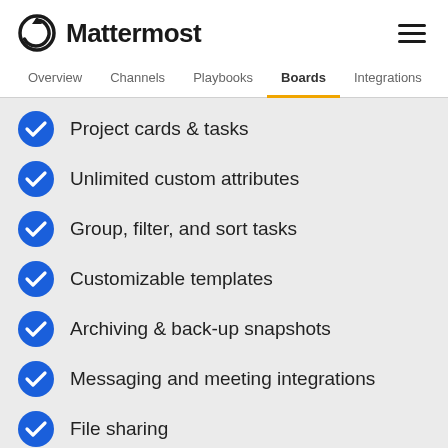Mattermost
Project cards & tasks
Unlimited custom attributes
Group, filter, and sort tasks
Customizable templates
Archiving & back-up snapshots
Messaging and meeting integrations
File sharing
Meeting notes
Priority labeling